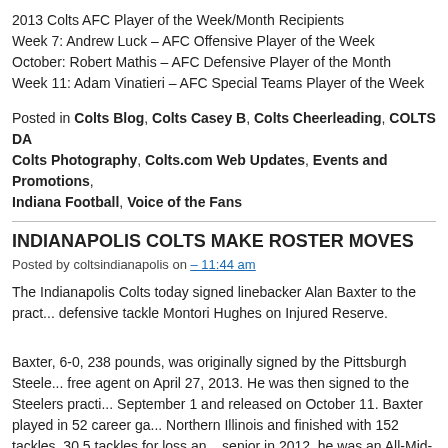2013 Colts AFC Player of the Week/Month Recipients
Week 7: Andrew Luck – AFC Offensive Player of the Week
October: Robert Mathis – AFC Defensive Player of the Month
Week 11: Adam Vinatieri – AFC Special Teams Player of the Week
Posted in Colts Blog, Colts Casey B, Colts Cheerleading, COLTS DA, Colts Photography, Colts.com Web Updates, Events and Promotions, Indiana Football, Voice of the Fans
INDIANAPOLIS COLTS MAKE ROSTER MOVES
Posted by coltsindianapolis on – 11:44 am
The Indianapolis Colts today signed linebacker Alan Baxter to the practice squad and placed defensive tackle Montori Hughes on Injured Reserve.
Baxter, 6-0, 238 pounds, was originally signed by the Pittsburgh Steelers as an undrafted free agent on April 27, 2013. He was then signed to the Steelers practice squad on September 1 and released on October 11. Baxter played in 52 career games at Northern Illinois and finished with 152 tackles, 30.5 tackles for loss and... As a senior in 2012, he was an All-Mid-American Conference first-team selection, leading the team with 9.5 sacks and 11.5 tackles for loss.